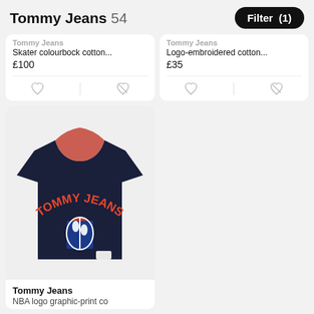Tommy Jeans 54
Filter (1)
Tommy Jeans
Skater colourbock cotton...
£100
Tommy Jeans
Logo-embroidered cotton...
£35
[Figure (photo): Navy blue Tommy Jeans NBA logo graphic-print cotton t-shirt, displayed on white background]
Tommy Jeans
NBA logo graphic-print co